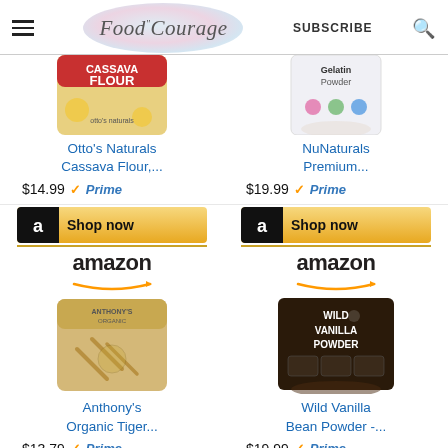Food Courage  SUBSCRIBE
[Figure (screenshot): Otto's Naturals Cassava Flour product image (partially visible, top cropped)]
[Figure (screenshot): NuNaturals Premium Gelatin Powder product image (partially visible, top cropped)]
Otto's Naturals Cassava Flour,...
NuNaturals Premium...
$14.99  Prime
$19.99  Prime
[Figure (screenshot): Amazon Shop now button for Otto's Naturals]
[Figure (screenshot): Amazon Shop now button for NuNaturals]
[Figure (logo): Amazon logo with arrow]
[Figure (logo): Amazon logo with arrow]
[Figure (screenshot): Anthony's Organic Tiger Nut Flour product image]
[Figure (screenshot): Wild Vanilla Bean Powder product image]
Anthony's Organic Tiger...
Wild Vanilla Bean Powder -...
$13.79  Prime
$19.99  Prime